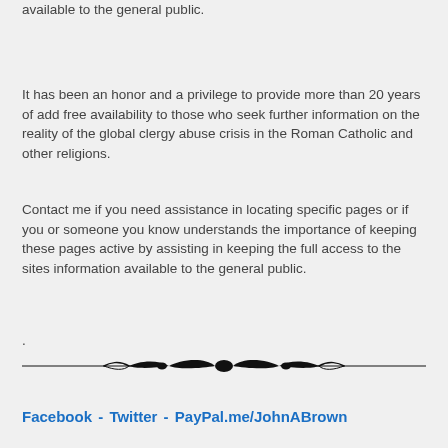available to the general public.
It has been an honor and a privilege to provide more than 20 years of add free availability to those who seek further information on the reality of the global clergy abuse crisis in the Roman Catholic and other religions.
Contact me if you need assistance in locating specific pages or if you or someone you know understands the importance of keeping these pages active by assisting in keeping the full access to the sites information available to the general public.
.
[Figure (illustration): Decorative horizontal divider with ornamental tribal/flame design in the center flanked by thin lines extending to both sides.]
Facebook - Twitter - PayPal.me/JohnABrown